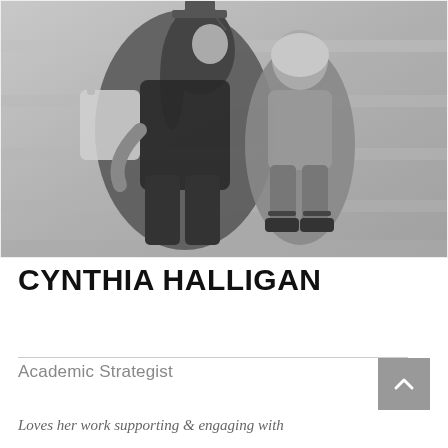[Figure (photo): Black and white photograph of a woman with long dark hair sitting on stone steps with a young toddler. The woman wears a black top and carries a large bag. The child has light hair and sandals.]
CYNTHIA HALLIGAN
Academic Strategist
Loves her work supporting & engaging with